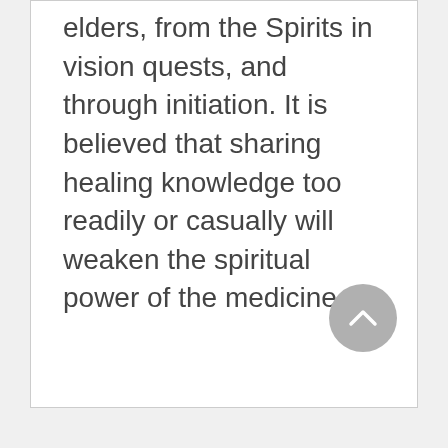elders, from the Spirits in vision quests, and through initiation. It is believed that sharing healing knowledge too readily or casually will weaken the spiritual power of the medicine.